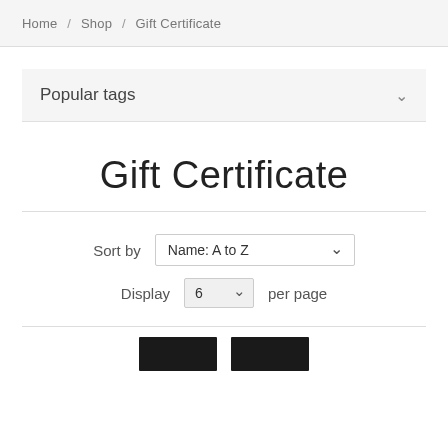Home / Shop / Gift Certificate
Popular tags
Gift Certificate
Sort by  Name: A to Z
Display  6  per page